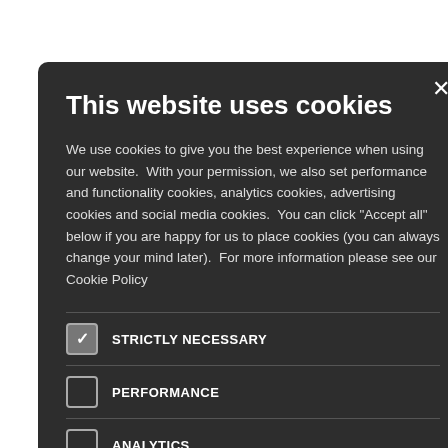Assessment of opportunities for constructive
order to support
ty in human
tices related to
tions in high-
oid contributing
s and practices
and operating
cific high-
ence
[Figure (screenshot): Cookie consent modal dialog with dark background. Title: 'This website uses cookies'. Body text explains cookie usage. Checkboxes for: STRICTLY NECESSARY (checked), PERFORMANCE (unchecked), ANALYTICS (unchecked), FUNCTIONALITY (unchecked), SOCIAL MEDIA (unchecked). Close button (×) in top right.]